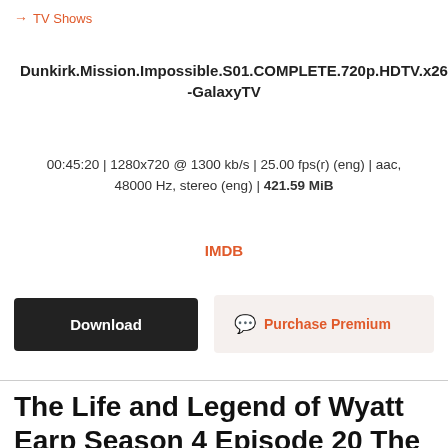→ TV Shows
Dunkirk.Mission.Impossible.S01.COMPLETE.720p.HDTV.x264-GalaxyTV
00:45:20 | 1280x720 @ 1300 kb/s | 25.00 fps(r) (eng) | aac, 48000 Hz, stereo (eng) | 421.59 MiB
IMDB
Download
Purchase Premium
The Life and Legend of Wyatt Earp Season 4 Episode 20 The Muleskinner H265 1080p WEBRip EzzRips